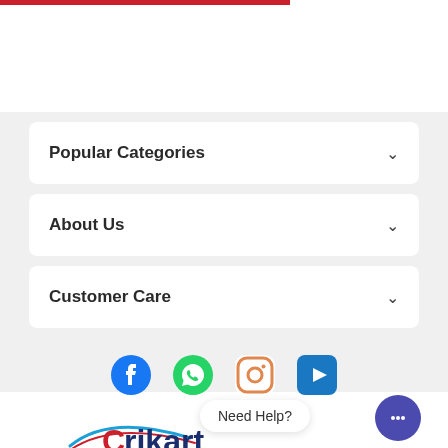[Figure (other): Red horizontal bar at top of page]
Popular Categories ▾
About Us ▾
Customer Care ▾
[Figure (other): Social media icons: Facebook, WhatsApp, Instagram, YouTube]
Need Help?
[Figure (logo): Crikart logo with swoosh and text]